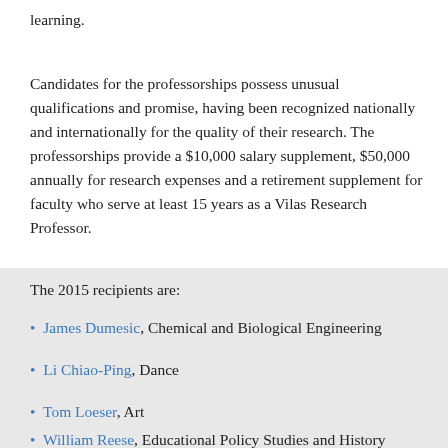learning.
Candidates for the professorships possess unusual qualifications and promise, having been recognized nationally and internationally for the quality of their research. The professorships provide a $10,000 salary supplement, $50,000 annually for research expenses and a retirement supplement for faculty who serve at least 15 years as a Vilas Research Professor.
The 2015 recipients are:
James Dumesic, Chemical and Biological Engineering
Li Chiao-Ping, Dance
Tom Loeser, Art
William Reese, Educational Policy Studies and History